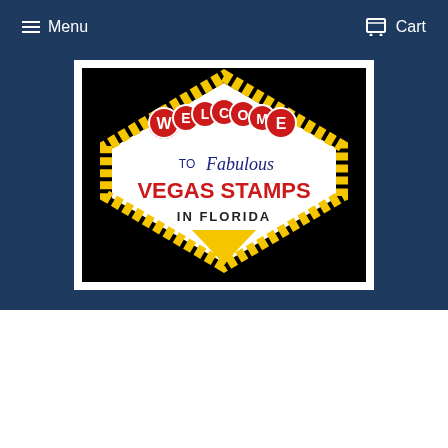Menu   Cart
[Figure (logo): Vegas Stamps logo styled like the Welcome to Fabulous Las Vegas sign. Black background with diamond/shield shape in white and yellow. Text reads: WELCOME TO Fabulous VEGAS STAMPS IN FLORIDA]
Home › 1967 Frederick Douglass Plate Bloc...